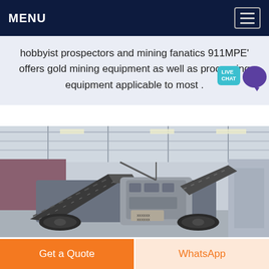MENU
hobbyist prospectors and mining fanatics 911MPE' offers gold mining equipment as well as processing equipment applicable to most .
[Figure (photo): Industrial mining machinery (mobile crusher/screener) inside a large warehouse/factory building with metal roof structure]
Get a Quote
WhatsApp